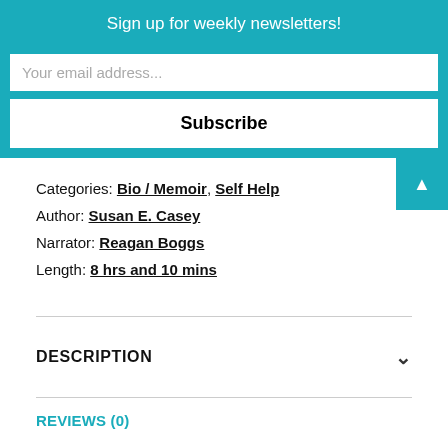Sign up for weekly newsletters!
Your email address...
Subscribe
Categories: Bio / Memoir, Self Help
Author: Susan E. Casey
Narrator: Reagan Boggs
Length: 8 hrs and 10 mins
DESCRIPTION
REVIEWS (0)
Description